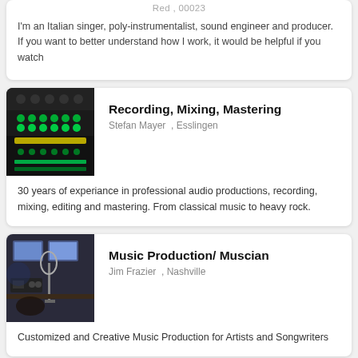Red , 00023
I'm an Italian singer, poly-instrumentalist, sound engineer and producer. If you want to better understand how I work, it would be helpful if you watch
Recording, Mixing, Mastering
Stefan Mayer , Esslingen
30 years of experiance in professional audio productions, recording, mixing, editing and mastering. From classical music to heavy rock.
Music Production/ Muscian
Jim Frazier , Nashville
Customized and Creative Music Production for Artists and Songwriters